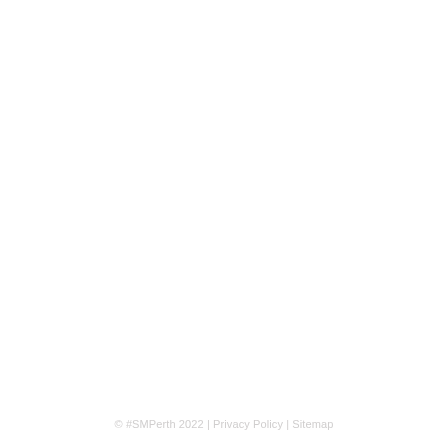© #SMPerth 2022 | Privacy Policy | Sitemap